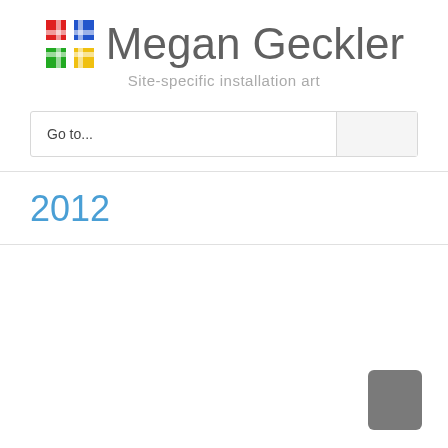Megan Geckler — Site-specific installation art
Go to...
2012